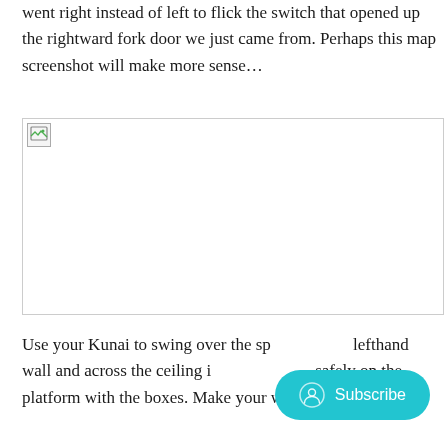went right instead of left to flick the switch that opened up the rightward fork door we just came from. Perhaps this map screenshot will make more sense…
[Figure (screenshot): A broken/missing image placeholder — map screenshot referenced in text, not loaded]
Use your Kunai to swing over the sp… lefthand wall and across the ceiling in… safely on the platform with the boxes. Make your way